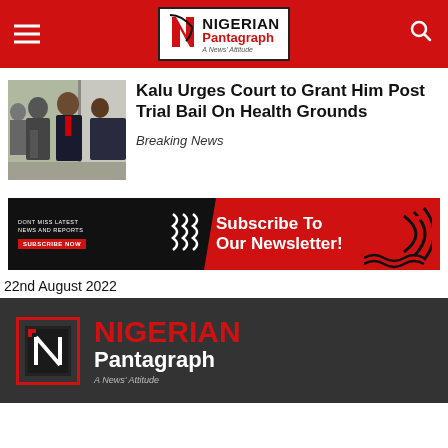Nigerian Pantagraph - A News' Attitude
Kalu Urges Court to Grant Him Post Trial Bail On Health Grounds
Breaking News
[Figure (infographic): Subscribe To Our Newsletter banner with red and black design]
22nd August 2022
[Figure (logo): Nigerian Pantagraph logo - A News' Attitude]